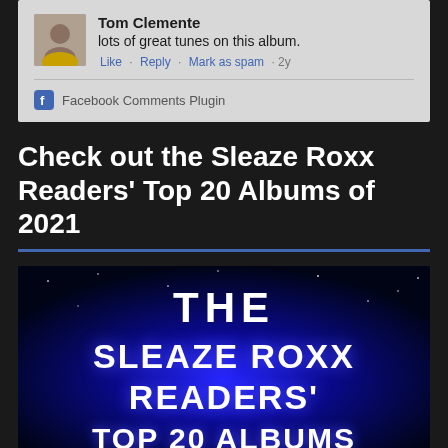Tom Clemente
lots of great tunes on this album.
Like · Reply · Mark as spam · 2y
Facebook Comments Plugin
Check out the Sleaze Roxx Readers' Top 20 Albums of 2021
[Figure (illustration): Dark blue starfield-style background with glowing text reading THE SLEAZE ROXX READERS' (top 20 albums visual)]